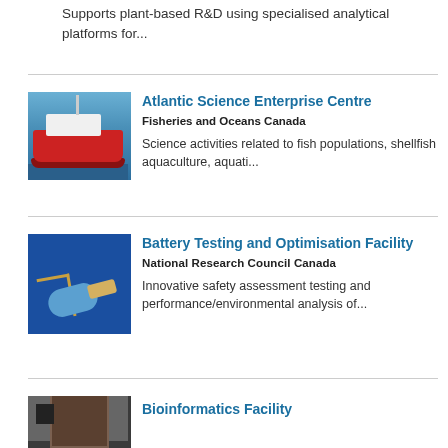Supports plant-based R&D using specialised analytical platforms for...
Atlantic Science Enterprise Centre
Fisheries and Oceans Canada
Science activities related to fish populations, shellfish aquaculture, aquati...
Battery Testing and Optimisation Facility
National Research Council Canada
Innovative safety assessment testing and performance/environmental analysis of...
Bioinformatics Facility